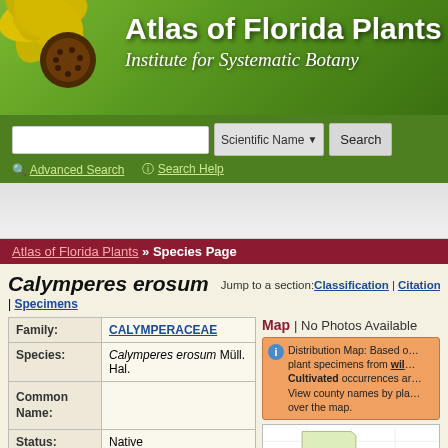[Figure (illustration): Atlas of Florida Plants banner with yellow flower (sunflower-like) on green gradient background]
Atlas of Florida Plants
Institute for Systematic Botany
Scientific Name [dropdown] Search
Advanced Search | Search Help
[Figure (other): Advertisement banner area]
Atlas of Florida Plants » Species Page
Calymperes erosum
Jump to a section: Classification | Citation | Source | Specimens
| Field | Value |
| --- | --- |
| Family: | CALYMPERACEAE |
| Species: | Calymperes erosum Müll. Hal. |
| Common Name: |  |
| Status: | Native |
** Not applicable or data not available.
Map | No Photos Available
Distribution Map: Based on plant specimens from wild and Cultivated occurrences and View county names by placing cursor over the map.